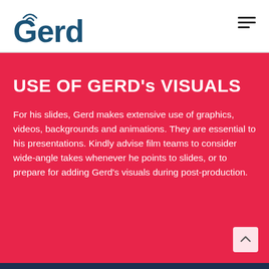Gerd
USE OF GERD's VISUALS
For his slides, Gerd makes extensive use of graphics, videos, backgrounds and animations. They are essential to his presentations. Kindly advise film teams to consider wide-angle takes whenever he points to slides, or to prepare for adding Gerd's visuals during post-production.